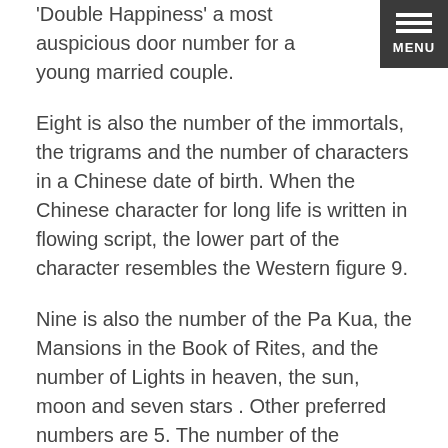'Double Happiness' a most auspicious door number for a young married couple.
Eight is also the number of the immortals, the trigrams and the number of characters in a Chinese date of birth. When the Chinese character for long life is written in flowing script, the lower part of the character resembles the Western figure 9.
Nine is also the number of the Pa Kua, the Mansions in the Book of Rites, and the number of Lights in heaven, the sun, moon and seven stars . Other preferred numbers are 5. The number of the Chinese elements and 6 which is said to bring wealth.
Oddly the number 1 is not particularly liked. The only number disliked is figure 4, Superstitious Chinese say bring bad luck. Cantonese (a Chinese dialect) says 4 means `say'